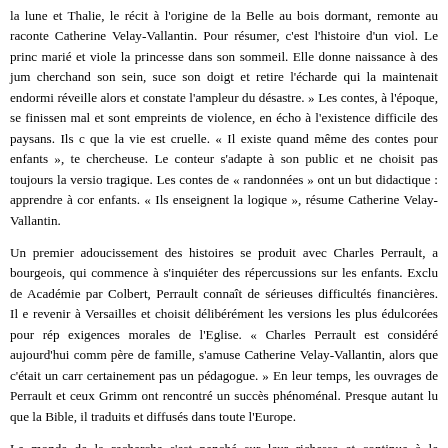la lune et Thalie, le récit à l'origine de la Belle au bois dormant, remonte au raconte Catherine Velay-Vallantin. Pour résumer, c'est l'histoire d'un viol. Le princ marié et viole la princesse dans son sommeil. Elle donne naissance à des jum cherchand son sein, suce son doigt et retire l'écharde qui la maintenait endormi réveille alors et constate l'ampleur du désastre. » Les contes, à l'époque, se finissen mal et sont empreints de violence, en écho à l'existence difficile des paysans. Ils c que la vie est cruelle. « Il existe quand même des contes pour enfants », te chercheuse. Le conteur s'adapte à son public et ne choisit pas toujours la versio tragique. Les contes de « randonnées » ont un but didactique : apprendre à cor enfants. « Ils enseignent la logique », résume Catherine Velay-Vallantin.
Un premier adoucissement des histoires se produit avec Charles Perrault, bourgeois, qui commence à s'inquiéter des répercussions sur les enfants. Exclu de Académie par Colbert, Perrault connaît de sérieuses difficultés financières. Il e revenir à Versailles et choisit délibérément les versions les plus édulcorées pour rép exigences morales de l'Eglise. « Charles Perrault est considéré aujourd'hui comm père de famille, s'amuse Catherine Velay-Vallantin, alors que c'était un carr certainement pas un pédagogue. » En leur temps, les ouvrages de Perrault et ceux Grimm ont rencontré un succès phénoménal. Presque autant lu que la Bible, il traduits et diffusés dans toute l'Europe.
Le monde de la recherche s'est penché sur leur richesse et continue à le psychanalyste Bruno Bettelheim au sociologue Jack Zypes, en passant par l d'universitaires telles que La Grande Oreille. On peut être chercheur et avoir su g âme d'enfant.
Voir encore: